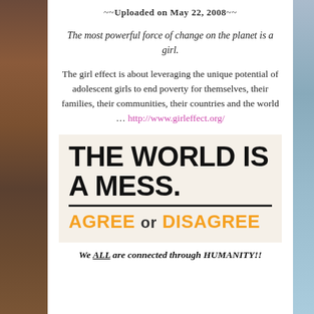~~Uploaded on May 22, 2008~~
The most powerful force of change on the planet is a girl.
The girl effect is about leveraging the unique potential of adolescent girls to end poverty for themselves, their families, their communities, their countries and the world … http://www.girleffect.org/
[Figure (other): Graphic with bold black text 'THE WORLD IS A MESS.' on cream background, with a horizontal line, below which 'AGREE or DISAGREE' appears in orange bold text.]
We ALL are connected through HUMANITY!!